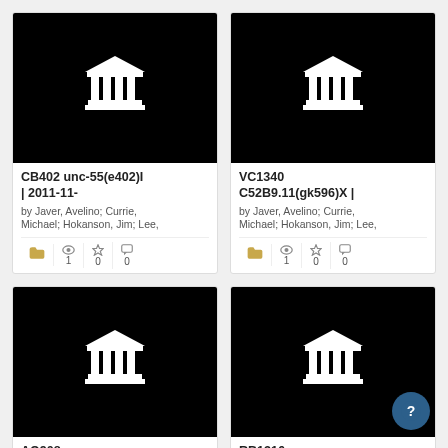[Figure (screenshot): Card grid showing 4 dataset thumbnails with temple/institution icons on black background]
CB402 unc-55(e402)I | 2011-11-
by Javer, Avelino; Currie, Michael; Hokanson, Jim; Lee,
VC1340 C52B9.11(gk596)X |
by Javer, Avelino; Currie, Michael; Hokanson, Jim; Lee,
AQ908 mec-4(u253)X;
by Javer, Avelino; Currie,
RB1316 unc-105(ok1432)II | 2010-
by Javer, Avelino; Currie,